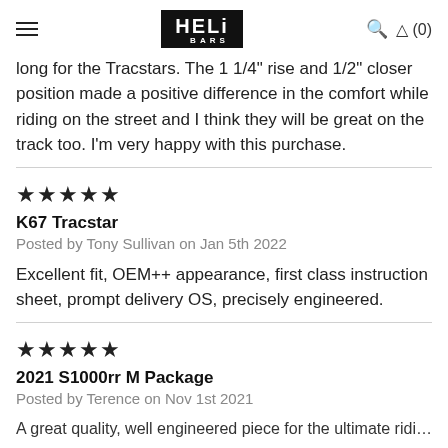Heli Bars — navigation header with hamburger menu, logo, search and cart (0)
long for the Tracstars. The 1 1/4" rise and 1/2" closer position made a positive difference in the comfort while riding on the street and I think they will be great on the track too. I'm very happy with this purchase.
★★★★★
K67 Tracstar
Posted by Tony Sullivan on Jan 5th 2022
Excellent fit, OEM++ appearance, first class instruction sheet, prompt delivery OS, precisely engineered.
★★★★★
2021 S1000rr M Package
Posted by Terence on Nov 1st 2021